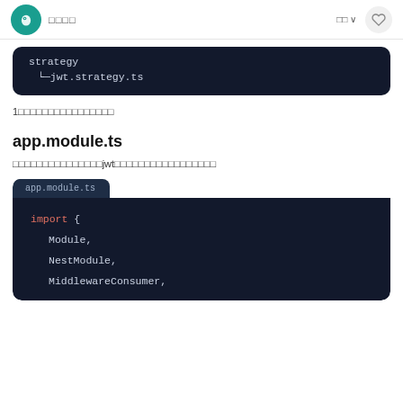□□□□  □□ ∨  ♡
[Figure (screenshot): Dark code block showing directory tree continuation: strategy / └─jwt.strategy.ts]
1□□□□□□□□□□□□□□□□
app.module.ts
□□□□□□□□□□□□□□□jwt□□□□□□□□□□□□□□□□□
[Figure (screenshot): Code block with tab 'app.module.ts' showing: import { Module, NestModule, MiddlewareConsumer,]